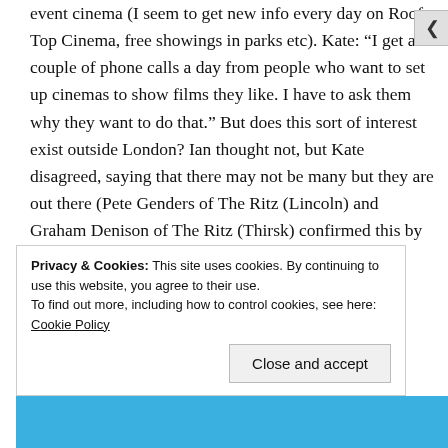event cinema (I seem to get new info every day on Roof Top Cinema, free showings in parks etc). Kate: “I get a couple of phone calls a day from people who want to set up cinemas to show films they like. I have to ask them why they want to do that.” But does this sort of interest exist outside London? Ian thought not, but Kate disagreed, saying that there may not be many but they are out there (Pete Genders of The Ritz (Lincoln) and Graham Denison of The Ritz (Thirsk) confirmed this by commenting on Part 1). She went on to say that she wished the UK
Privacy & Cookies: This site uses cookies. By continuing to use this website, you agree to their use.
To find out more, including how to control cookies, see here: Cookie Policy
Close and accept